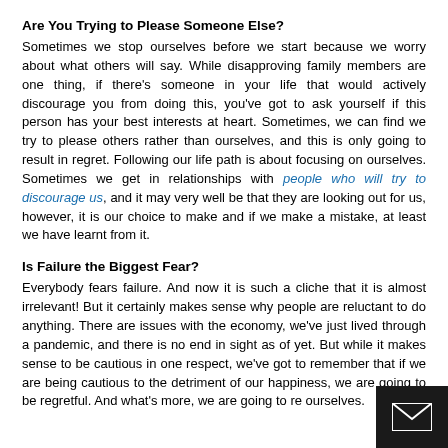Are You Trying to Please Someone Else?
Sometimes we stop ourselves before we start because we worry about what others will say. While disapproving family members are one thing, if there's someone in your life that would actively discourage you from doing this, you've got to ask yourself if this person has your best interests at heart. Sometimes, we can find we try to please others rather than ourselves, and this is only going to result in regret. Following our life path is about focusing on ourselves. Sometimes we get in relationships with people who will try to discourage us, and it may very well be that they are looking out for us, however, it is our choice to make and if we make a mistake, at least we have learnt from it.
Is Failure the Biggest Fear?
Everybody fears failure. And now it is such a cliche that it is almost irrelevant! But it certainly makes sense why people are reluctant to do anything. There are issues with the economy, we've just lived through a pandemic, and there is no end in sight as of yet. But while it makes sense to be cautious in one respect, we've got to remember that if we are being cautious to the detriment of our happiness, we are going to be regretful. And what's more, we are going to re ourselves.